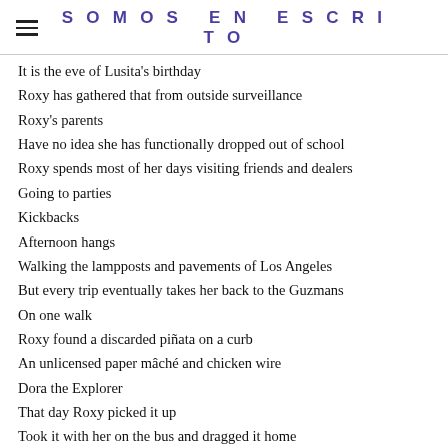SOMOS EN ESCRITO
It is the eve of Lusita's birthday
Roxy has gathered that from outside surveillance
Roxy's parents
Have no idea she has functionally dropped out of school
Roxy spends most of her days visiting friends and dealers
Going to parties
Kickbacks
Afternoon hangs
Walking the lampposts and pavements of Los Angeles
But every trip eventually takes her back to the Guzmans
On one walk
Roxy found a discarded piñata on a curb
An unlicensed paper mâché and chicken wire
Dora the Explorer
That day Roxy picked it up
Took it with her on the bus and dragged it home
Fashioned it into a costume.